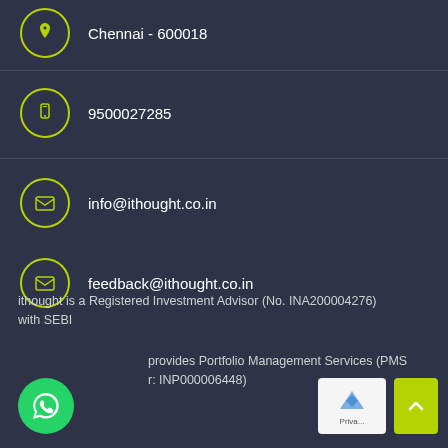Chennai - 600018
9500027285
info@ithought.co.in
feedback@ithought.co.in
ithought is a Registered Investment Advisor (No. INA200004276) with SEBI
provides Portfolio Management Services (PMS r: INP000006448)